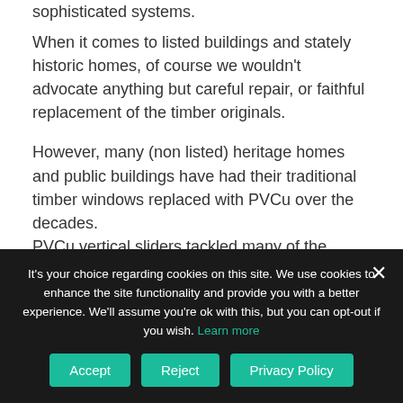sophisticated systems.
When it comes to listed buildings and stately historic homes, of course we wouldn't advocate anything but careful repair, or faithful replacement of the timber originals.
However, many (non listed) heritage homes and public buildings have had their traditional timber windows replaced with PVCu over the decades. PVCu vertical sliders tackled many of the common problems associated with traditional sash systems, such as decay due to rot, sashes sticking due to overpainting or distortion, and broken sash cords. Energy-efficient PVCu windows can be around 40% cheaper than timber
It's your choice regarding cookies on this site. We use cookies to enhance the site functionality and provide you with a better experience. We'll assume you're ok with this, but you can opt-out if you wish. Learn more
Accept | Reject | Privacy Policy